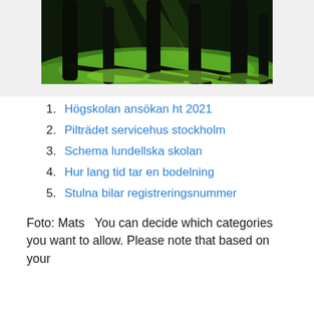[Figure (photo): Forest scene with dark tree trunks casting long shadows on bright green moss-covered ground, sunlight filtering through trees]
Högskolan ansökan ht 2021
Pilträdet servicehus stockholm
Schema lundellska skolan
Hur lang tid tar en bodelning
Stulna bilar registreringsnummer
Foto: Mats  You can decide which categories you want to allow. Please note that based on your